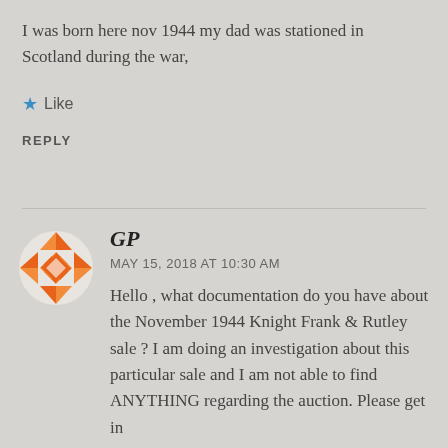I was born here nov 1944 my dad was stationed in Scotland during the war,
★ Like
REPLY
GP
MAY 15, 2018 AT 10:30 AM
Hello , what documentation do you have about the November 1944 Knight Frank & Rutley sale ? I am doing an investigation about this particular sale and I am not able to find ANYTHING regarding the auction. Please get in contact with me at once if you can help me.